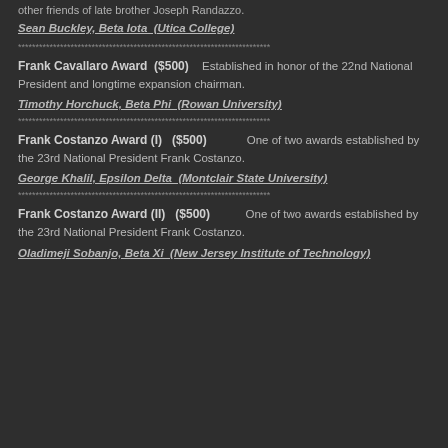other friends of late brother Joseph Randazzo.
Sean Buckley, Beta Iota  (Utica College)
****************************************************************
Frank Cavallaro Award  ($500)    Established in honor of the 22nd National President and longtime expansion chairman.
Timothy Horchuck, Beta Phi  (Rowan University)
****************************************************************
Frank Costanzo Award (I)   ($500)           One of two awards established by the 23rd National President Frank Costanzo.
George Khalil, Epsilon Delta  (Montclair State University)
****************************************************************
Frank Costanzo Award (II)   ($500)          One of two awards established by the 23rd National President Frank Costanzo.
Oladimeji Sobanjo, Beta Xi  (New Jersey Institute of Technology)